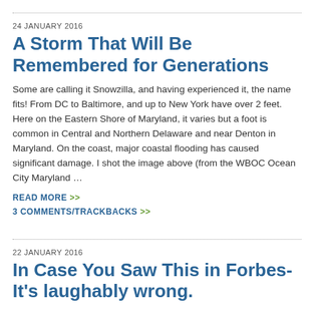24 JANUARY 2016
A Storm That Will Be Remembered for Generations
Some are calling it Snowzilla, and having experienced it, the name fits! From DC to Baltimore, and up to New York have over 2 feet. Here on the Eastern Shore of Maryland, it varies but a foot is common in Central and Northern Delaware and near Denton in Maryland. On the coast, major coastal flooding has caused significant damage. I shot the image above (from the WBOC Ocean City Maryland …
READ MORE  >>
3 COMMENTS/TRACKBACKS  >>
22 JANUARY 2016
In Case You Saw This in Forbes- It's laughably wrong.